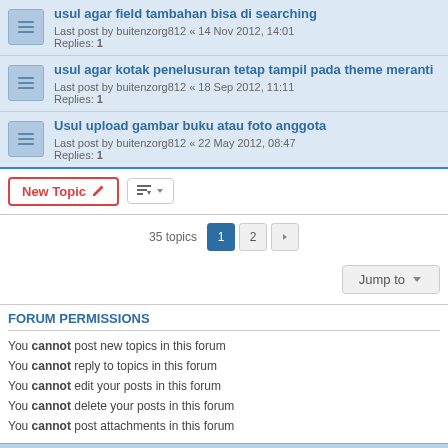usul agar field tambahan bisa di searching
Last post by buitenzorg812 « 14 Nov 2012, 14:01
Replies: 1
usul agar kotak penelusuran tetap tampil pada theme meranti
Last post by buitenzorg812 « 18 Sep 2012, 11:11
Replies: 1
Usul upload gambar buku atau foto anggota
Last post by buitenzorg812 « 22 May 2012, 08:47
Replies: 1
35 topics  1  2  >
Jump to
FORUM PERMISSIONS
You cannot post new topics in this forum
You cannot reply to topics in this forum
You cannot edit your posts in this forum
You cannot delete your posts in this forum
You cannot post attachments in this forum
Board index   All times are UTC+07:00
Powered by phpBB® Forum Software © phpBB Limited